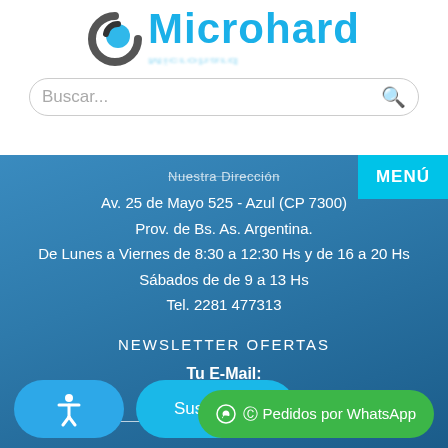[Figure (logo): Microhard company logo with a stylized circular icon in silver/blue and the text 'Microhard' in cyan/light blue, with a reflection below]
Buscar...
Nuestra Dirección
MENÚ
Av. 25 de Mayo 525 - Azul (CP 7300)
Prov. de Bs. As. Argentina.
De Lunes a Viernes de 8:30 a 12:30 Hs y de 16 a 20 Hs
Sábados de de 9 a 13 Hs
Tel. 2281 477313
NEWSLETTER OFERTAS
Tu E-Mail:
Suscribirse
Pedidos por WhatsApp